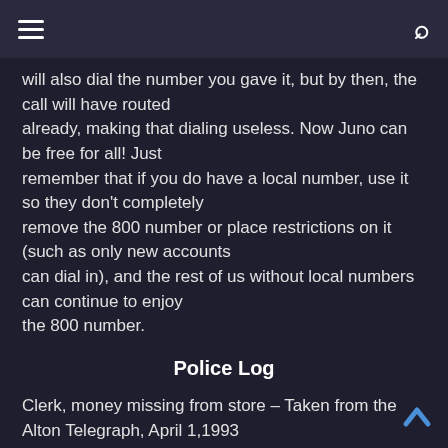≡  🔍
will also dial the number you gave it, but by then, the call will have routed already, making that dialing useless. Now Juno can be free for all! Just remember that if you do have a local number, use it so they don't completely remove the 800 number or place restrictions on it (such as only new accounts can dial in), and the rest of us without local numbers can continue to enjoy the 800 number.
Police Log
Clerk, money missing from store – Taken from the Alton Telegraph, April 1,1993 WOOD RIVER – Police are looking for an employee who